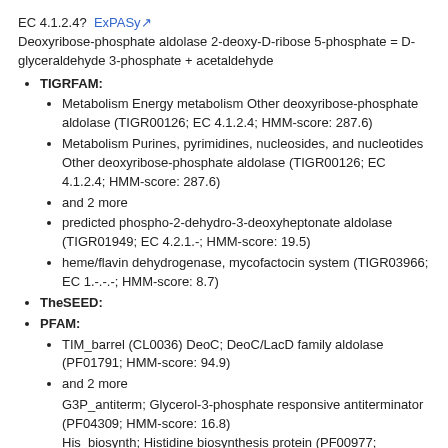EC 4.1.2.4? ExPASy
Deoxyribose-phosphate aldolase 2-deoxy-D-ribose 5-phosphate = D-glyceraldehyde 3-phosphate + acetaldehyde
TIGRFAM:
Metabolism Energy metabolism Other deoxyribose-phosphate aldolase (TIGR00126; EC 4.1.2.4; HMM-score: 287.6)
Metabolism Purines, pyrimidines, nucleosides, and nucleotides Other deoxyribose-phosphate aldolase (TIGR00126; EC 4.1.2.4; HMM-score: 287.6)
and 2 more
predicted phospho-2-dehydro-3-deoxyheptonate aldolase (TIGR01949; EC 4.2.1.-; HMM-score: 19.5)
heme/flavin dehydrogenase, mycofactocin system (TIGR03966; EC 1.-.-.-; HMM-score: 8.7)
TheSEED:
PFAM:
TIM_barrel (CL0036) DeoC; DeoC/LacD family aldolase (PF01791; HMM-score: 94.9)
and 2 more
G3P_antiterm; Glycerol-3-phosphate responsive antiterminator (PF04309; HMM-score: 16.8)
His_biosynth; Histidine biosynthesis protein (PF00977;